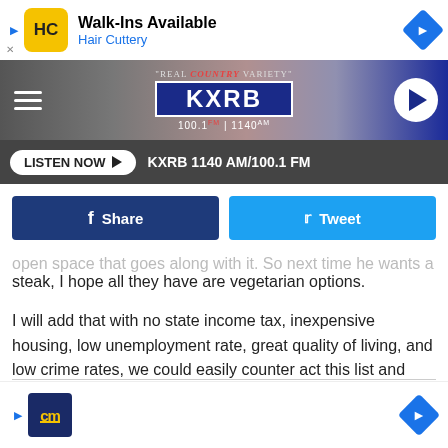[Figure (screenshot): Hair Cuttery advertisement banner - Walk-Ins Available]
[Figure (logo): KXRB 100.1 FM / 1140 AM Real Country Variety radio station header with hamburger menu and play button]
[Figure (screenshot): Listen Now button bar - KXRB 1140 AM/100.1 FM]
[Figure (screenshot): Facebook Share and Twitter Tweet social buttons]
open space that goes along with it. So next time he wants a steak, I hope all they have are vegetarian options.
I will add that with no state income tax, inexpensive housing, low unemployment rate, great quality of living, and low crime rates, we could easily counter act this list and come up with a Top 10 List of Reasons to Move to South Dakota.
[Figure (screenshot): CM (CareerMedia or similar) advertisement banner at bottom]